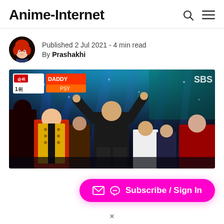Anime-Internet
Published 2 Jul 2021  -  4 min read
By Prashakhi
[Figure (photo): Concert stage photo showing multiple performers dancing under blue stage lights, with SBS watermark and DADDY PSY overlay graphic in upper portion.]
✉ 🐱 Subscribe / Sign In
×